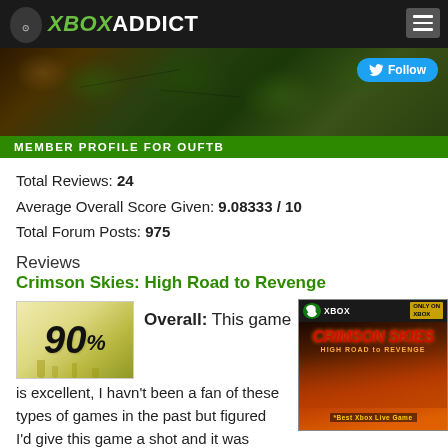XBOX ADDICT
[Figure (screenshot): Xbox Addict website banner with nature/forest background and Twitter Follow button]
MEMBER PROFILE FOR OUFTB
Total Reviews: 24
Average Overall Score Given: 9.08333 / 10
Total Forum Posts: 975
Reviews
Crimson Skies: High Road to Revenge
[Figure (other): 90% score badge with dripping ink style]
Overall: This game is excellent, I havn't been a fan of these types of games in the past but figured I'd give this game a shot and it was worth
[Figure (photo): Crimson Skies: High Road to Revenge Xbox game cover - Only on Xbox]